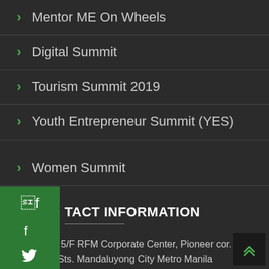Mentor ME On Wheels
Digital Summit
Tourism Summit 2019
Youth Entrepreneur Summit (YES)
Women Summit
CONTACT INFORMATION
Address: 5/F RFM Corporate Center, Pioneer cor. Sheridan Sts. Mandaluyong City Metro Manila Philippines
Tel. No: +63 (2) 637 9347